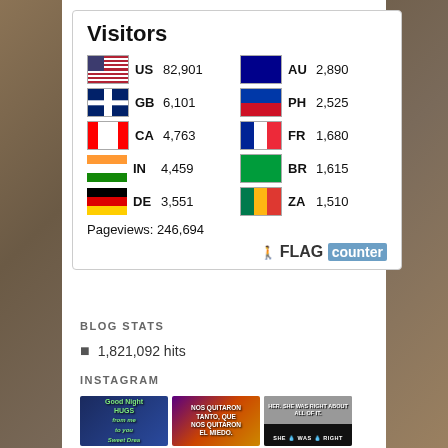[Figure (infographic): Flag Counter widget showing visitor statistics by country. Visitors: US 82,901 | AU 2,890 | GB 6,101 | PH 2,525 | CA 4,763 | FR 1,680 | IN 4,459 | BR 1,615 | DE 3,551 | ZA 1,510. Pageviews: 246,694. FLAG counter branding at bottom right.]
BLOG STATS
1,821,092 hits
INSTAGRAM
[Figure (photo): Instagram thumbnail 1: Good Night HUGS from me to you Sweet Dreams - blue background with teddy bear illustration]
[Figure (photo): Instagram thumbnail 2: NOS QUITARON TANTO, QUE NOS QUITARON EL MIEDO. - city street protest scene with purple and orange lighting]
[Figure (photo): Instagram thumbnail 3: HER. SHE WAS RIGHT ABOUT ALL OF IT. - black and white photo of woman in sunglasses with SHE WAS RIGHT text bar at bottom]